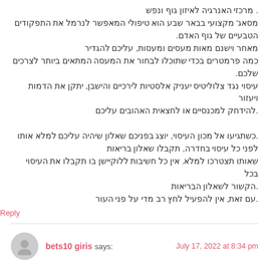. מרכזי האנרגיה לאיזון גוף ונפש
מסאג' מקצועי בבאר שבע הוא טיפולי המאפשר לנרמל את התפקודים הטבעיים של גוף האדם.
מאחר וישנם מאות מעסים ומעסות, עליכם להגדיר כמה פרמטרים בכדי שתוכלו לבחור את המעסה המתאים ביותר לצרכים שלכם.
עיסוי נגד צלוליטיס יעניק אלסטיות לירכיים והישבן, יתקן את הדמות ויעזור להידחק למכנסיים או לחצאית האהובים עליכם.

.כשתגיעו אל מכון העיסוי, יוצג בפניכם שאלון שיהיה עליכם למלא אותו לפני כל עיסוי בחדרה, תקבלו שאלון בריאות שאותו תצטרכו למלא. אין כל חשיבות ללוקיישן בו תקבלו את העיסוי בכל הקשור לשאלון הבריאות.
.עם זאת, אין להפעיל לחץ רב מדי על פני העור
Reply
bets10 giris says:
July 17, 2022 at 8:34 pm